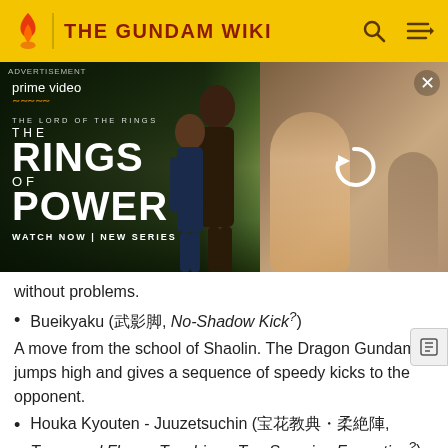THE GUNDAM WIKI
[Figure (photo): Amazon Prime Video advertisement for The Lord of the Rings: The Rings of Power - Watch Now | New Series, with two characters in foreground and a video panel on the right with a refresh icon]
without problems.
Bueikyaku (武影脚, No-Shadow Kick?)
A move from the school of Shaolin. The Dragon Gundam jumps high and gives a sequence of speedy kicks to the opponent.
Houka Kyouten - Juuzetsuchin (宝花教典・柔絶陣, Treasured Flower Teaching - Ten-Severing Formation?)
An attack used against the GF4-001NE Mummy Gundam IV. It begins with Dragon Gundam taking hold of all of its